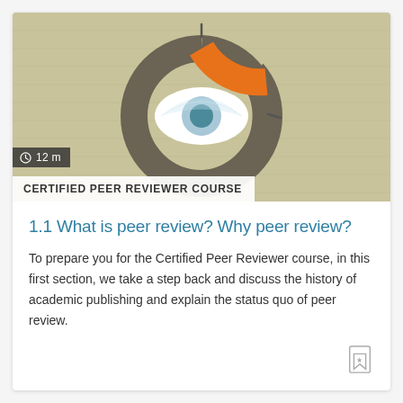[Figure (infographic): Circular donut/ring chart with an eye illustration in the center. The ring is mostly dark gray/brown with an orange segment at the top-right. Background is a muted olive/khaki color. Small tick marks at top and right of the ring.]
12 m
CERTIFIED PEER REVIEWER COURSE
1.1 What is peer review? Why peer review?
To prepare you for the Certified Peer Reviewer course, in this first section, we take a step back and discuss the history of academic publishing and explain the status quo of peer review.